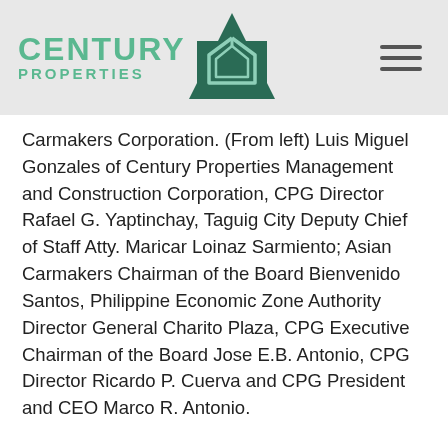[Figure (logo): Century Properties logo with green text and dark green house icon on triangular background]
Carmakers Corporation. (From left) Luis Miguel Gonzales of Century Properties Management and Construction Corporation, CPG Director Rafael G. Yaptinchay, Taguig City Deputy Chief of Staff Atty. Maricar Loinaz Sarmiento; Asian Carmakers Chairman of the Board Bienvenido Santos, Philippine Economic Zone Authority Director General Charito Plaza, CPG Executive Chairman of the Board Jose E.B. Antonio, CPG Director Ricardo P. Cuerva and CPG President and CEO Marco R. Antonio.